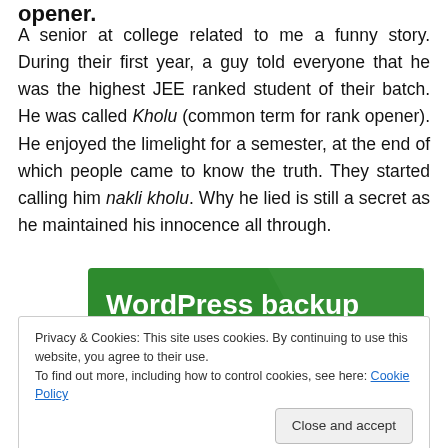opener.
A senior at college related to me a funny story. During their first year, a guy told everyone that he was the highest JEE ranked student of their batch. He was called Kholu (common term for rank opener). He enjoyed the limelight for a semester, at the end of which people came to know the truth. They started calling him nakli kholu. Why he lied is still a secret as he maintained his innocence all through.
[Figure (other): Green advertisement banner for WordPress backup plugin]
Privacy & Cookies: This site uses cookies. By continuing to use this website, you agree to their use.
To find out more, including how to control cookies, see here: Cookie Policy